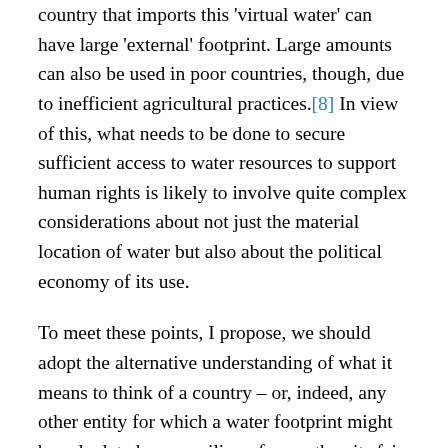country that imports this 'virtual water' can have large 'external' footprint. Large amounts can also be used in poor countries, though, due to inefficient agricultural practices.[8] In view of this, what needs to be done to secure sufficient access to water resources to support human rights is likely to involve quite complex considerations about not just the material location of water but also about the political economy of its use.
To meet these points, I propose, we should adopt the alternative understanding of what it means to think of a country – or, indeed, any other entity for which a water footprint might be calculated – as availing of more than its fair share of the Earth's freshwater and thus as presumptively carrying the greater burden of obligation. If we grant the premise that no individual has a greater right to water than any other does, then we can allow a